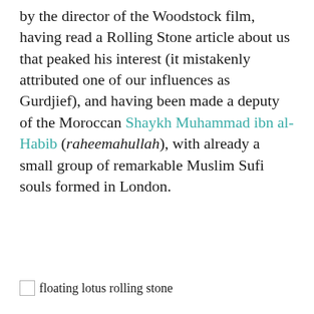by the director of the Woodstock film, having read a Rolling Stone article about us that peaked his interest (it mistakenly attributed one of our influences as Gurdjief), and having been made a deputy of the Moroccan Shaykh Muhammad ibn al-Habib (raheemahullah), with already a small group of remarkable Muslim Sufi souls formed in London.
[Figure (other): Broken image placeholder icon followed by alt text: 'floating lotus rolling stone']